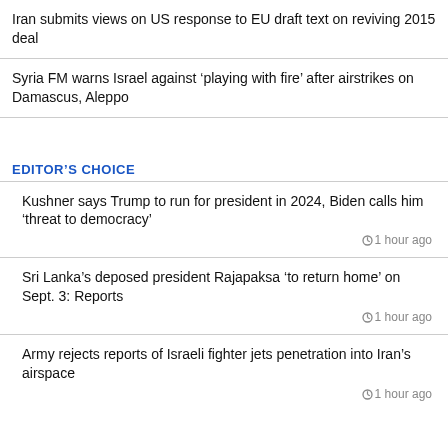Iran submits views on US response to EU draft text on reviving 2015 deal
Syria FM warns Israel against ‘playing with fire’ after airstrikes on Damascus, Aleppo
EDITOR'S CHOICE
Kushner says Trump to run for president in 2024, Biden calls him ‘threat to democracy’
1 hour ago
Sri Lanka’s deposed president Rajapaksa ‘to return home’ on Sept. 3: Reports
1 hour ago
Army rejects reports of Israeli fighter jets penetration into Iran’s airspace
1 hour ago